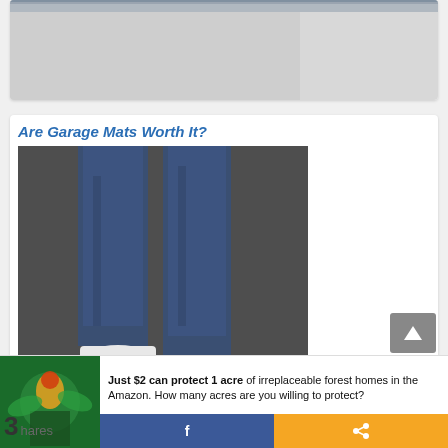[Figure (photo): Partial view of a garage floor (light gray/white concrete floor), top portion of image cropped]
Are Garage Mats Worth It?
[Figure (photo): Person standing on a dark gray garage mat wearing jeans and white sneakers, viewed from calves down]
Garage Floor Coatings: Epoxy vs. Paint, Which is Better?
[Figure (photo): Partial photo of garage floor coating, bottom of image]
Just $2 can protect 1 acre of irreplaceable forest homes in the Amazon. How many acres are you willing to protect?
3 Shares